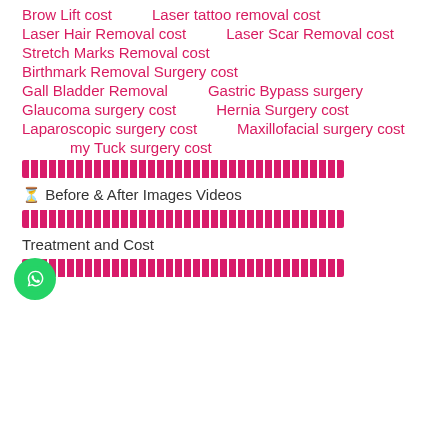Brow Lift cost    Laser tattoo removal cost
Laser Hair Removal cost    Laser Scar Removal cost
Stretch Marks Removal cost
Birthmark Removal Surgery cost
Gall Bladder Removal    Gastric Bypass surgery
Glaucoma surgery cost    Hernia Surgery cost
Laparoscopic surgery cost    Maxillofacial surgery cost
Tummy Tuck surgery cost
[Figure (other): Pink decorative divider bar made of repeated vertical segments]
⏳ Before & After Images Videos
[Figure (other): Pink decorative divider bar made of repeated vertical segments]
Treatment and Cost
[Figure (other): Pink decorative divider bar made of repeated vertical segments (partially visible at bottom)]